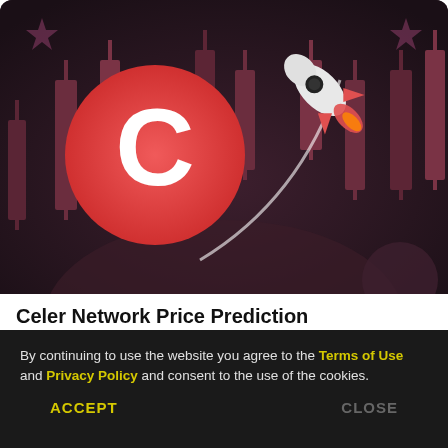[Figure (illustration): Dark themed illustration with candlestick charts in background, a red circular Celer Network logo with white C letter on the left, and a red/white rocket ship launching upward with a curved trail on the right, with purple stars in corners]
Celer Network Price Prediction
By continuing to use the website you agree to the Terms of Use and Privacy Policy and consent to the use of the cookies.
ACCEPT   CLOSE